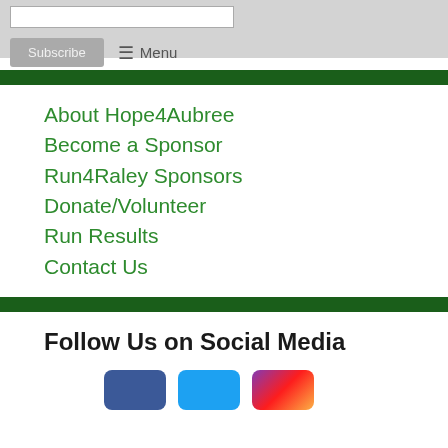Subscribe | Menu
About Hope4Aubree
Become a Sponsor
Run4Raley Sponsors
Donate/Volunteer
Run Results
Contact Us
Follow Us on Social Media
[Figure (illustration): Three social media icon buttons: Facebook (blue), Twitter (light blue), and Instagram (purple/gradient)]